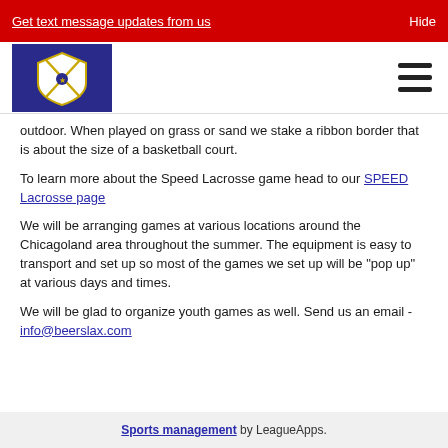Get text message updates from us   Hide
[Figure (logo): Beers Lacrosse club logo on dark blue background]
...outdoor. When played on grass or sand we stake a ribbon border that is about the size of a basketball court.
To learn more about the Speed Lacrosse game head to our SPEED Lacrosse page
We will be arranging games at various locations around the Chicagoland area throughout the summer. The equipment is easy to transport and set up so most of the games we set up will be "pop up" at various days and times.
We will be glad to organize youth games as well. Send us an email - info@beerslax.com
Sports management by LeagueApps.